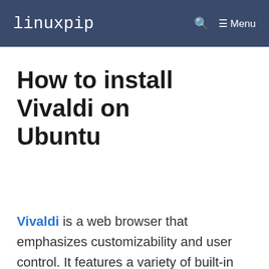linuxpip   🔍   ≡ Menu
How to install Vivaldi on Ubuntu
Vivaldi is a web browser that emphasizes customizability and user control. It features a variety of built-in tools,